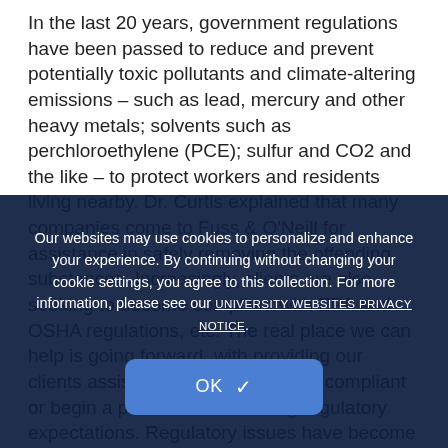In the last 20 years, government regulations have been passed to reduce and prevent potentially toxic pollutants and climate-altering emissions – such as lead, mercury and other heavy metals; solvents such as perchloroethylene (PCE); sulfur and CO2 and the like – to protect workers and residents living nearby. Dr. Curtis explained that many companies come to Fuss & O'Neill for assistance in safely removing the offending substances. Increasingly, clients are also seeking to become compliant with EPA and OSHA regulations, etc. The real place we can help is going forward, with providing our clients assistance so they can stay compliant or begin a process of exceeding regulatory expectations. Regulatory issues have become paramount. Six months ago, we became very good in terms of [Clean Air] Act compliance as regards industrial waste. We are now nationally recognized.
Our websites may use cookies to personalize and enhance your experience. By continuing without changing your cookie settings, you agree to this collection. For more information, please see our UNIVERSITY WEBSITES PRIVACY NOTICE.